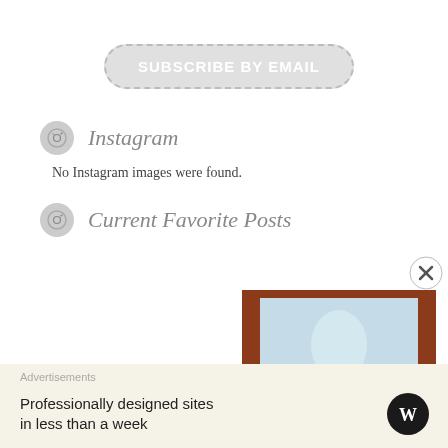SUBSCRIBE BY EMAIL
Instagram
No Instagram images were found.
Current Favorite Posts
[Figure (photo): BurdaStyle modern sewing magazine cover showing a woman in a grey off-shoulder top, with text 'Full-Figure Fashi...' and '24 Plus-Size Patterns']
Advertisements
Professionally designed sites in less than a week